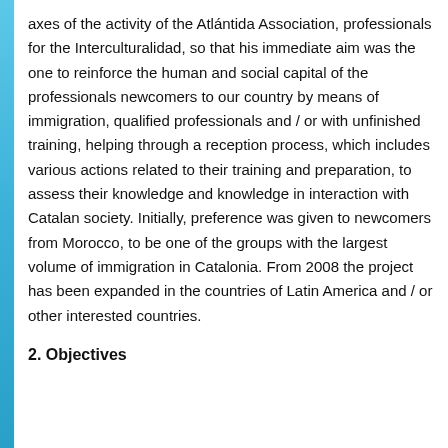axes of the activity of the Atlántida Association, professionals for the Interculturalidad, so that his immediate aim was the one to reinforce the human and social capital of the professionals newcomers to our country by means of immigration, qualified professionals and / or with unfinished training, helping through a reception process, which includes various actions related to their training and preparation, to assess their knowledge and knowledge in interaction with Catalan society. Initially, preference was given to newcomers from Morocco, to be one of the groups with the largest volume of immigration in Catalonia. From 2008 the project has been expanded in the countries of Latin America and / or other interested countries.
2. Objectives